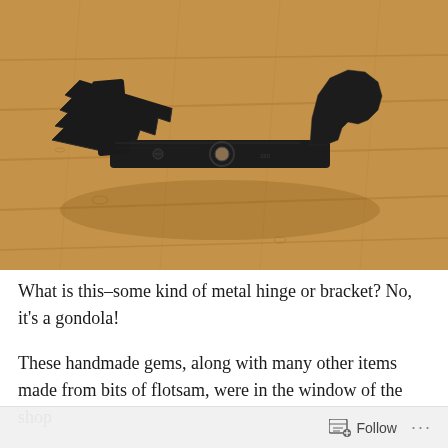[Figure (photo): A black metal bracket or gondola-shaped object lying on a light wood floor. The object is dark/black, has an asymmetric shape with serrated edge on the left and a curved hook on the upper right, with a central hole. It casts a shadow on honey-colored wooden floorboards.]
What is this–some kind of metal hinge or bracket? No, it's a gondola!
These handmade gems, along with many other items made from bits of flotsam, were in the window of the shop